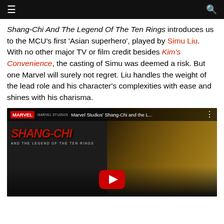≡  🔍
Shang-Chi And The Legend Of The Ten Rings introduces us to the MCU's first 'Asian superhero', played by Simu Liu. With no other major TV or film credit besides Kim's Convenience, the casting of Simu was deemed a risk. But one Marvel will surely not regret. Liu handles the weight of the lead role and his character's complexities with ease and shines with his charisma.
[Figure (screenshot): YouTube video thumbnail for Marvel Studios' Shang-Chi and the Legend of the Ten Rings trailer, showing the Shang-Chi logo in red on dark background with a figure and golden glowing element, with YouTube play button overlay]